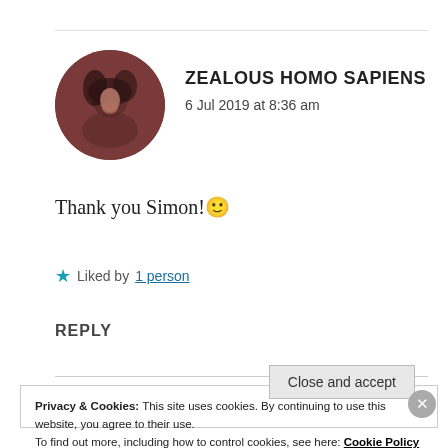[Figure (photo): Circular avatar of a person with dark hair, reddish-brown toned photo]
ZEALOUS HOMO SAPIENS
6 Jul 2019 at 8:36 am
Thank you Simon! 🙂
★ Liked by 1 person
REPLY
Privacy & Cookies: This site uses cookies. By continuing to use this website, you agree to their use.
To find out more, including how to control cookies, see here: Cookie Policy
Close and accept